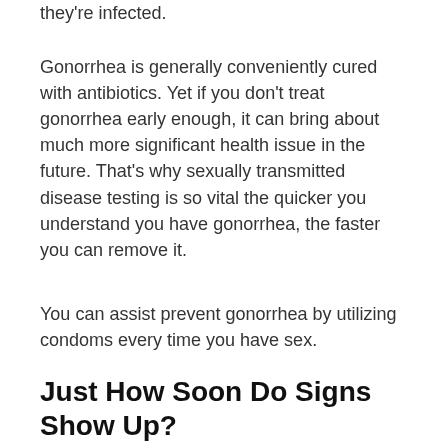they're infected.
Gonorrhea is generally conveniently cured with antibiotics. Yet if you don't treat gonorrhea early enough, it can bring about much more significant health issue in the future. That's why sexually transmitted disease testing is so vital the quicker you understand you have gonorrhea, the faster you can remove it.
You can assist prevent gonorrhea by utilizing condoms every time you have sex.
Just How Soon Do Signs Show Up?
In males, symptoms usually show up two to